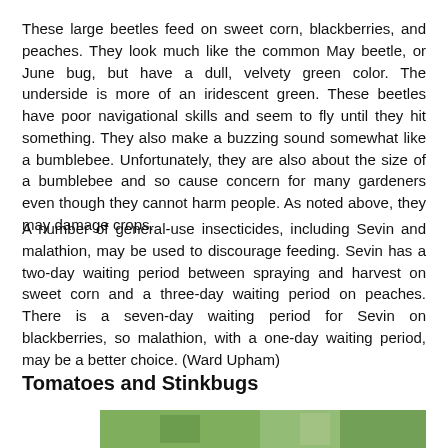These large beetles feed on sweet corn, blackberries, and peaches. They look much like the common May beetle, or June bug, but have a dull, velvety green color. The underside is more of an iridescent green. These beetles have poor navigational skills and seem to fly until they hit something. They also make a buzzing sound somewhat like a bumblebee. Unfortunately, they are also about the size of a bumblebee and so cause concern for many gardeners even though they cannot harm people. As noted above, they may damage crops.
A number of general-use insecticides, including Sevin and malathion, may be used to discourage feeding. Sevin has a two-day waiting period between spraying and harvest on sweet corn and a three-day waiting period on peaches. There is a seven-day waiting period for Sevin on blackberries, so malathion, with a one-day waiting period, may be a better choice. (Ward Upham)
Tomatoes and Stinkbugs
[Figure (photo): Partial photo of a green plant or crop, possibly a tomato plant with stinkbug infestation, shown at the bottom of the page.]